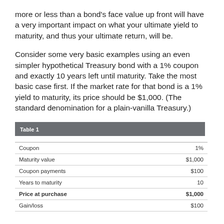more or less than a bond's face value up front will have a very important impact on what your ultimate yield to maturity, and thus your ultimate return, will be.
Consider some very basic examples using an even simpler hypothetical Treasury bond with a 1% coupon and exactly 10 years left until maturity. Take the most basic case first. If the market rate for that bond is a 1% yield to maturity, its price should be $1,000. (The standard denomination for a plain-vanilla Treasury.)
|  |  |
| --- | --- |
| Coupon | 1% |
| Maturity value | $1,000 |
| Coupon payments | $100 |
| Years to maturity | 10 |
| Price at purchase | $1,000 |
| Gain/loss | $100 |